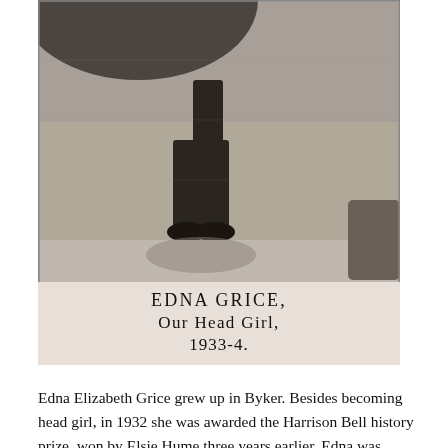[Figure (photo): Black and white photograph of Edna Grice, head girl 1933-4, showing the lower portion of a person standing, wearing a dark dress or coat, with caption text below reading EDNA GRICE, OUR HEAD GIRL, 1933-4.]
EDNA GRICE, OUR HEAD GIRL, 1933-4.
Edna Elizabeth Grice grew up in Byker. Besides becoming head girl, in 1932 she was awarded the Harrison Bell history prize, won by Elsie Hume three years earlier. Edna was presented with it by Dr Ethel Williams, Newcastle's